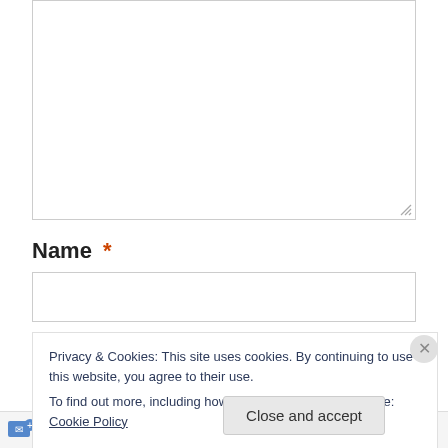[Figure (screenshot): A textarea input box (comment field), empty, with a resize handle in the bottom-right corner.]
Name *
[Figure (screenshot): A text input box for Name, empty.]
Privacy & Cookies: This site uses cookies. By continuing to use this website, you agree to their use.
To find out more, including how to control cookies, see here: Cookie Policy
Close and accept
Follow